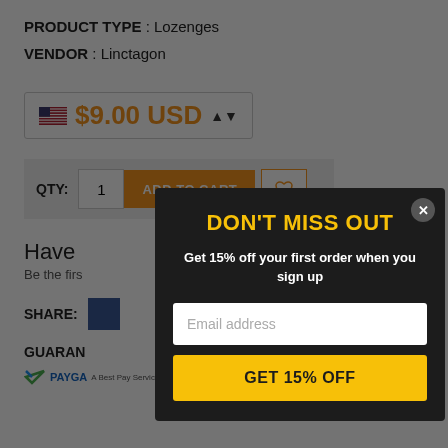PRODUCT TYPE : Lozenges
VENDOR : Linctagon
$9.00 USD
QTY: 1 ADD TO CART
Have
Be the firs
SHARE:
GUARAN
[Figure (screenshot): PayGa payment guarantee logo]
DON'T MISS OUT
Get 15% off your first order when you sign up
Email address
GET 15% OFF